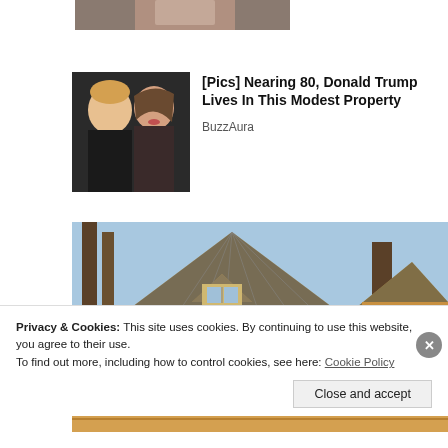[Figure (photo): Partial image visible at top of page, cropped]
[Figure (photo): Photo of Donald Trump and Melania Trump together]
[Pics] Nearing 80, Donald Trump Lives In This Modest Property
BuzzAura
[Figure (photo): Photo of a wooden log cabin or chalet style house with triangular rooflines and a balcony, taken from a low angle against a blue sky]
Privacy & Cookies: This site uses cookies. By continuing to use this website, you agree to their use.
To find out more, including how to control cookies, see here: Cookie Policy
Close and accept